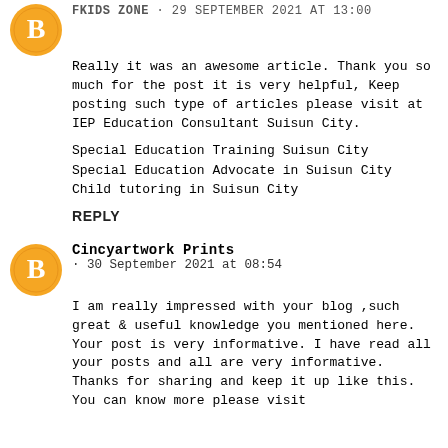FKIDS ZONE · 29 September 2021 at 13:00
Really it was an awesome article. Thank you so much for the post it is very helpful, Keep posting such type of articles please visit at IEP Education Consultant Suisun City.
Special Education Training Suisun City
Special Education Advocate in Suisun City
Child tutoring in Suisun City
REPLY
Cincyartwork Prints
· 30 September 2021 at 08:54
I am really impressed with your blog ,such great & useful knowledge you mentioned here. Your post is very informative. I have read all your posts and all are very informative. Thanks for sharing and keep it up like this. You can know more please visit